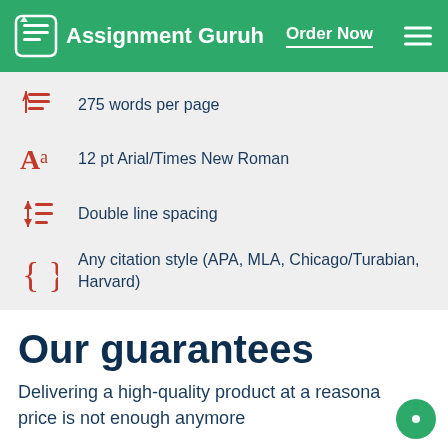Assignment Guruh | Order Now
275 words per page
12 pt Arial/Times New Roman
Double line spacing
Any citation style (APA, MLA, Chicago/Turabian, Harvard)
Our guarantees
Delivering a high-quality product at a reasonable price is not enough anymore